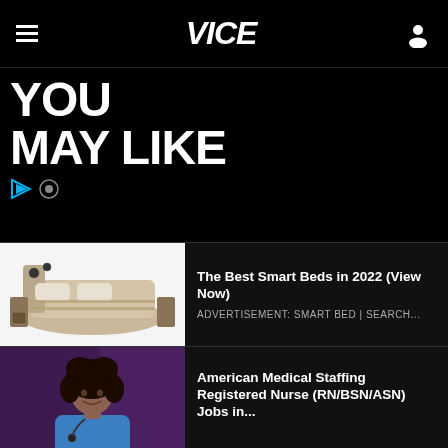VICE
YOU MAY LIKE
The Best Smart Beds in 2022 (View Now)
ADVERTISEMENT: SMART BED | SEARCH...
[Figure (photo): Smart bed with multiple features, storage drawers, speakers, side tables]
American Medical Staffing Registered Nurse (RN/BSN/ASN) Jobs in...
[Figure (photo): Smiling female nurse in scrubs with curly hair]